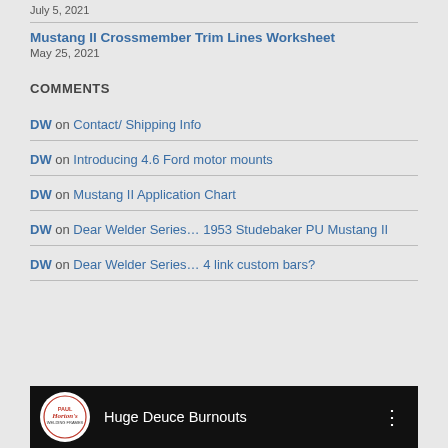July 5, 2021
Mustang II Crossmember Trim Lines Worksheet
May 25, 2021
COMMENTS
DW on Contact/ Shipping Info
DW on Introducing 4.6 Ford motor mounts
DW on Mustang II Application Chart
DW on Dear Welder Series... 1953 Studebaker PU Mustang II
DW on Dear Welder Series... 4 link custom bars?
[Figure (screenshot): Video thumbnail bar showing Paul Horton's Welding Frames logo and title 'Huge Deuce Burnouts' on black background]